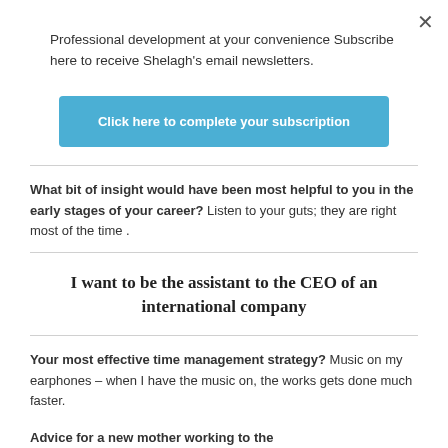Professional development at your convenience Subscribe here to receive Shelagh's email newsletters.
Click here to complete your subscription
What bit of insight would have been most helpful to you in the early stages of your career? Listen to your guts; they are right most of the time .
I want to be the assistant to the CEO of an international company
Your most effective time management strategy? Music on my earphones – when I have the music on, the works gets done much faster.
Advice for a new mother working to the